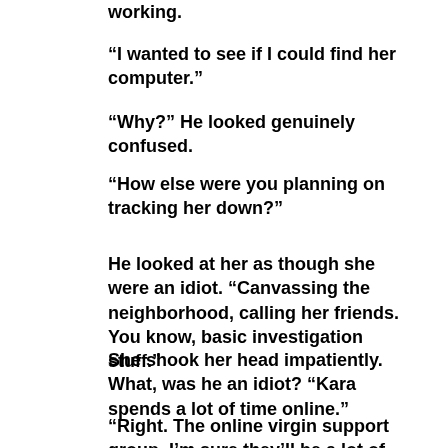working.
“I wanted to see if I could find her computer.”
“Why?” He looked genuinely confused.
“How else were you planning on tracking her down?”
He looked at her as though she were an idiot. “Canvassing the neighborhood, calling her friends. You know, basic investigation stuff.”
She shook her head impatiently. What, was he an idiot? “Kara spends a lot of time online.”
“Right. The online virgin support group. I’m sure they’ll be a lot of help finding her boyfriend.”